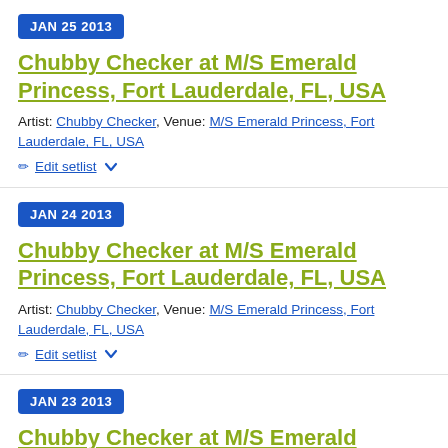JAN 25 2013
Chubby Checker at M/S Emerald Princess, Fort Lauderdale, FL, USA
Artist: Chubby Checker, Venue: M/S Emerald Princess, Fort Lauderdale, FL, USA
Edit setlist
JAN 24 2013
Chubby Checker at M/S Emerald Princess, Fort Lauderdale, FL, USA
Artist: Chubby Checker, Venue: M/S Emerald Princess, Fort Lauderdale, FL, USA
Edit setlist
JAN 23 2013
Chubby Checker at M/S Emerald Princess, Fort Lauderdale, FL, USA